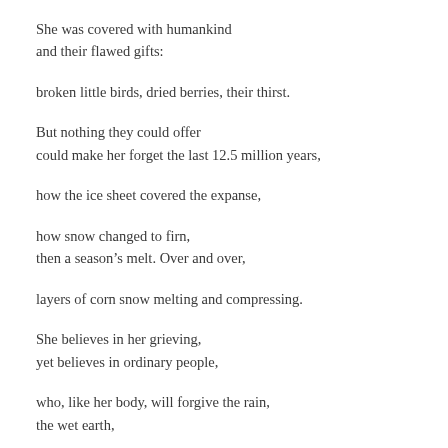She was covered with humankind
and their flawed gifts:
broken little birds, dried berries, their thirst.
But nothing they could offer
could make her forget the last 12.5 million years,
how the ice sheet covered the expanse,
how snow changed to firn,
then a season's melt. Over and over,
layers of corn snow melting and compressing.
She believes in her grieving,
yet believes in ordinary people,
who, like her body, will forgive the rain,
the wet earth,